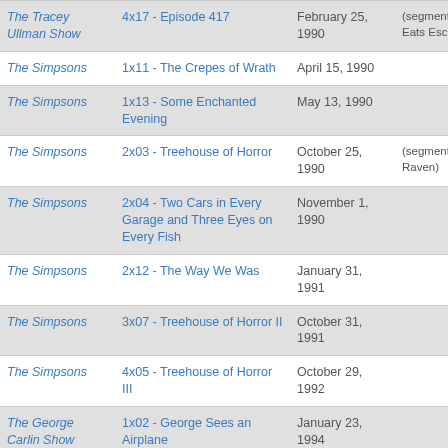| Show | Episode | Date | Notes |
| --- | --- | --- | --- |
| The Tracey Ullman Show | 4x17 - Episode 417 | February 25, 1990 | (segment: Ginny Eats Escrow) |
| The Simpsons | 1x11 - The Crepes of Wrath | April 15, 1990 |  |
| The Simpsons | 1x13 - Some Enchanted Evening | May 13, 1990 |  |
| The Simpsons | 2x03 - Treehouse of Horror | October 25, 1990 | (segment: The Raven) |
| The Simpsons | 2x04 - Two Cars in Every Garage and Three Eyes on Every Fish | November 1, 1990 |  |
| The Simpsons | 2x12 - The Way We Was | January 31, 1991 |  |
| The Simpsons | 3x07 - Treehouse of Horror II | October 31, 1991 |  |
| The Simpsons | 4x05 - Treehouse of Horror III | October 29, 1992 |  |
| The George Carlin Show | 1x02 - George Sees an Airplane | January 23, 1994 |  |
| The George | 1x03 - George Goes on a | February 6, |  |